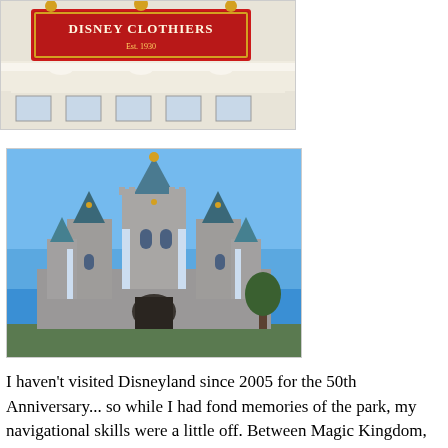[Figure (photo): Photo of a Disney Clothiers storefront sign with red banner and ornate decorative elements]
[Figure (photo): Photo of Disneyland's Sleeping Beauty Castle against a clear blue sky, showing the castle's turrets, spires, and blue and white striped decorations]
I haven't visited Disneyland since 2005 for the 50th Anniversary... so while I had fond memories of the park, my navigational skills were a little off. Between Magic Kingdom, Disneyland Paris, and Disneyland, I kept getting a little confused and had to refer to my map every so often.
Another thing that I almost forgot is that Disneyland still uses